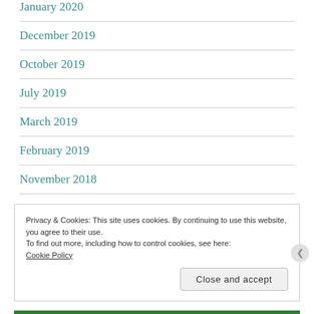January 2020
December 2019
October 2019
July 2019
March 2019
February 2019
November 2018
Privacy & Cookies: This site uses cookies. By continuing to use this website, you agree to their use.
To find out more, including how to control cookies, see here:
Cookie Policy